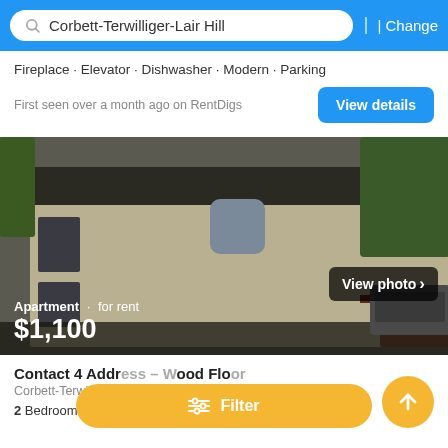Corbett-Terwilliger-Lair Hill | Change
Fireplace · Elevator · Dishwasher · Modern · Parking
First seen over a month ago on RentDigs
[Figure (photo): Exterior photo of a small apartment building with beige/tan brick, windows, a ramp or deck, and trees in background. Overlay text shows 'View photo >' and listing info: 'Apartment · for rent $1,100']
Contact 4 Address – Wood Floo
Corbett-Terwilliger-Lair Hill
2 Bedrooms  1 Bath
Filter